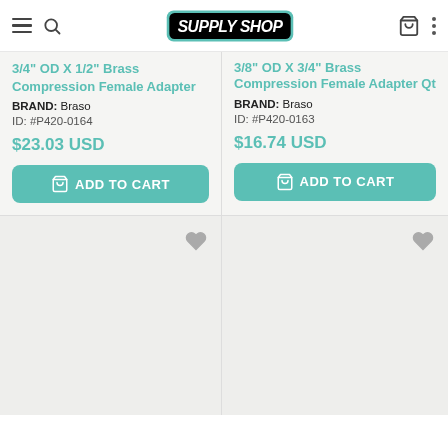Supply Shop
3/4" OD X 1/2" Brass Compression Female Adapter
BRAND: Braso
ID: #P420-0164
$23.03 USD
3/8" OD X 3/4" Brass Compression Female Adapter Qt
BRAND: Braso
ID: #P420-0163
$16.74 USD
[Figure (screenshot): Product listing cards for brass compression adapters on Supply Shop e-commerce site]
[Figure (screenshot): Bottom product card placeholder with heart/wishlist icon]